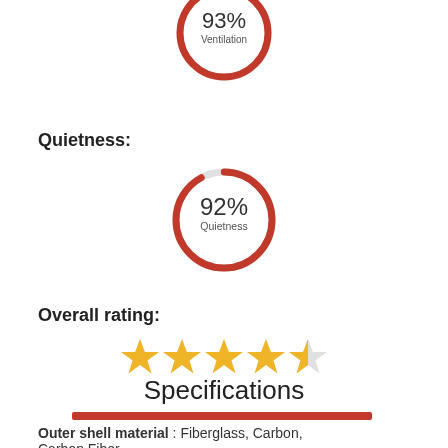[Figure (donut-chart): Ventilation]
Quietness:
[Figure (donut-chart): Quietness]
Overall rating:
[Figure (other): 4.5 out of 5 stars rating]
Specifications
Outer shell material : Fiberglass, Carbon, Carbon Fiber